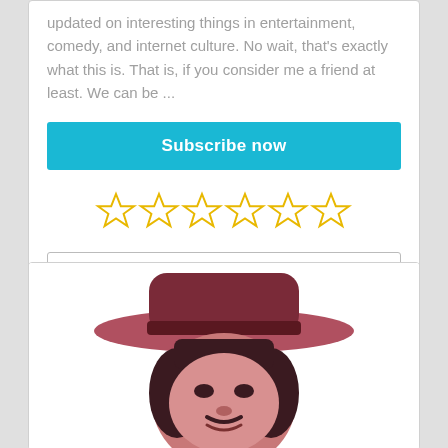updated on interesting things in entertainment, comedy, and internet culture. No wait, that's exactly what this is. That is, if you consider me a friend at least. We can be ...
Subscribe now
[Figure (other): Five empty star rating icons in gold/yellow outline]
Review this
[Figure (illustration): Stylized portrait illustration of a person wearing a wide-brimmed hat, rendered in shades of pink, rose, and dark brown on a white background]